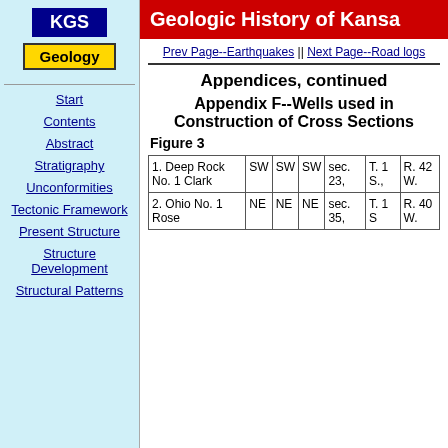[Figure (logo): KGS blue box logo]
[Figure (logo): Geology yellow box logo]
Start
Contents
Abstract
Stratigraphy
Unconformities
Tectonic Framework
Present Structure
Structure Development
Structural Patterns
Geologic History of Kansas
Prev Page--Earthquakes || Next Page--Road logs
Appendices, continued
Appendix F--Wells used in Construction of Cross Sections
Figure 3
|  |  |  |  | sec. | T. | R. |
| --- | --- | --- | --- | --- | --- | --- |
| 1. Deep Rock No. 1 Clark | SW | SW | SW | sec. 23, | T. 1 S., | R. 42 W. |
| 2. Ohio No. 1 Rose | NE | NE | NE | sec. 35, | T. 1 S | R. 40 W. |